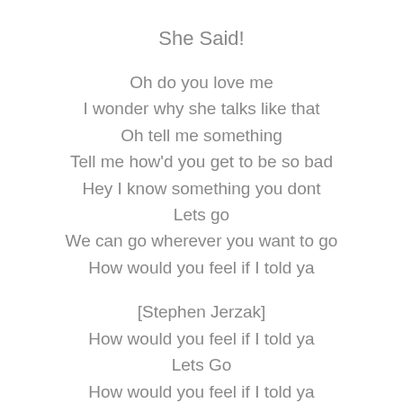She Said!
Oh do you love me
I wonder why she talks like that
Oh tell me something
Tell me how'd you get to be so bad
Hey I know something you dont
Lets go
We can go wherever you want to go
How would you feel if I told ya
[Stephen Jerzak]
How would you feel if I told ya
Lets Go
How would you feel if I told ya
On the dance floor
How would you feel if I told ya
Lets go
We can go wherever you want to go